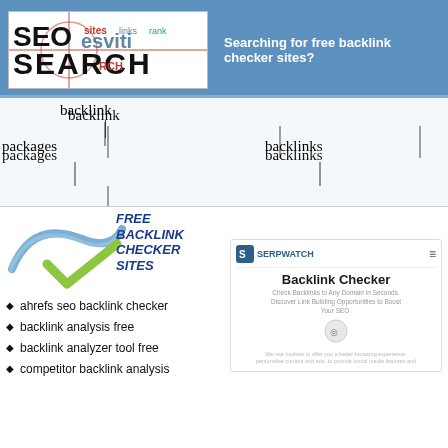[Figure (logo): SEO Search logo with overlapping text words forming a search-themed banner]
Searching for free backlink checker sites?
backlink   local   online   seo a
packages   backlinks   seo backlink   seo backlink   backlink
[Figure (illustration): Abstract blue and green swoosh/checkmark graphic logo]
FREE BACKLINK CHECKER SITES
ahrefs seo backlink checker
backlink analysis free
backlink analyzer tool free
competitor backlink analysis
[Figure (screenshot): SerpWatch Backlink Checker widget screenshot showing logo, title Backlink Checker, description text, and cookie notice]
Backlink Checker
Check Backlinks to Any Domain in Seconds. Discover Link Building Opportunities to Boost Your SEO.